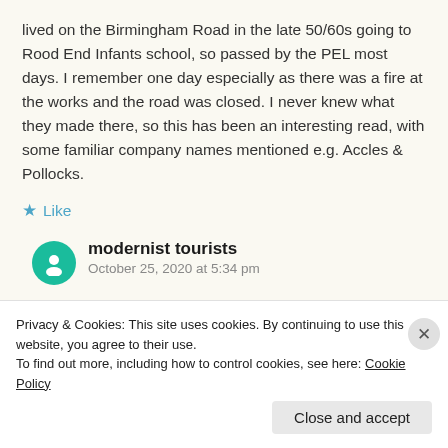lived on the Birmingham Road in the late 50/60s going to Rood End Infants school, so passed by the PEL most days. I remember one day especially as there was a fire at the works and the road was closed. I never knew what they made there, so this has been an interesting read, with some familiar company names mentioned e.g. Accles & Pollocks.
★ Like
modernist tourists
October 25, 2020 at 5:34 pm
Hi Stephen, glad to hear you enjoyed the page. I
Privacy & Cookies: This site uses cookies. By continuing to use this website, you agree to their use.
To find out more, including how to control cookies, see here: Cookie Policy
Close and accept